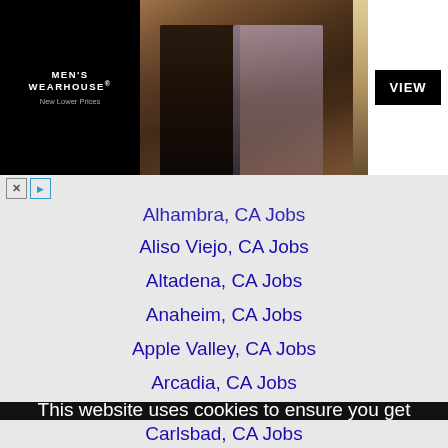[Figure (screenshot): Men's Wearhouse advertisement banner showing couple in formal wear and man in tan suit, with VIEW button]
Alhambra, CA Jobs
Aliso Viejo, CA Jobs
Altadena, CA Jobs
Anaheim, CA Jobs
Apple Valley, CA Jobs
Arcadia, CA Jobs
This website uses cookies to ensure you get the best experience on our website.
Learn more
Got it!
Carlsbad, CA Jobs